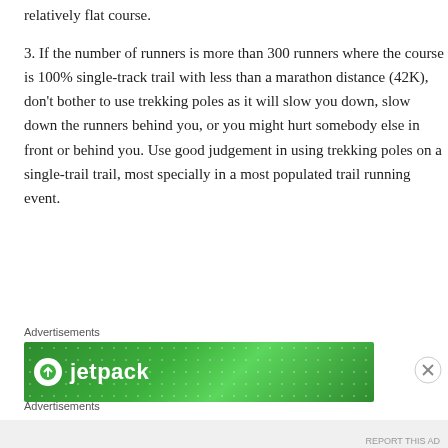relatively flat course.
3. If the number of runners is more than 300 runners where the course is 100% single-track trail with less than a marathon distance (42K), don't bother to use trekking poles as it will slow you down, slow down the runners behind you, or you might hurt somebody else in front or behind you. Use good judgement in using trekking poles on a single-trail trail, most specially in a most populated trail running event.
Advertisements
[Figure (other): Green advertisement banner with Jetpack logo]
Advertisements